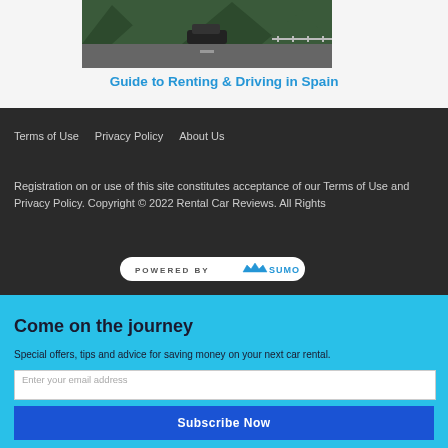[Figure (photo): A car driving on a road through lush green mountainous landscape in Spain]
Guide to Renting & Driving in Spain
Terms of Use    Privacy Policy    About Us
Registration on or use of this site constitutes acceptance of our Terms of Use and Privacy Policy. Copyright © 2022 Rental Car Reviews. All Rights
[Figure (logo): POWERED BY SUMO badge]
Come on the journey
Special offers, tips and advice for saving money on your next car rental.
Enter your email address
Subscribe Now